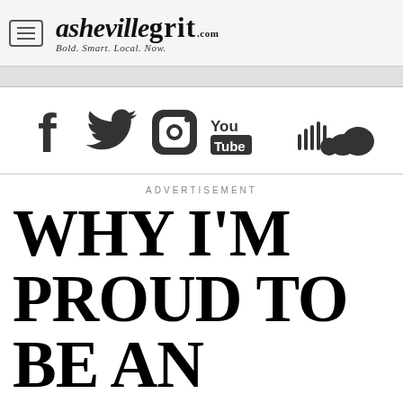ashevillegrit.com — Bold. Smart. Local. Now.
[Figure (illustration): Social media icons: Facebook, Twitter, Instagram, YouTube, SoundCloud]
ADVERTISEMENT
WHY I'M PROUD TO BE AN